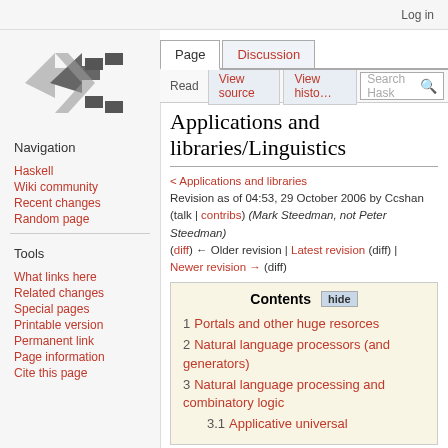Log in
[Figure (logo): Haskell wiki logo — stylized lambda/arrow marks in grey]
Navigation
Haskell
Wiki community
Recent changes
Random page
Tools
What links here
Related changes
Special pages
Printable version
Permanent link
Page information
Cite this page
Applications and libraries/Linguistics
< Applications and libraries
Revision as of 04:53, 29 October 2006 by Ccshan (talk | contribs) (Mark Steedman, not Peter Steedman)
(diff) ← Older revision | Latest revision (diff) | Newer revision → (diff)
Contents
1 Portals and other huge resorces
2 Natural language processors (and generators)
3 Natural language processing and combinatory logic
3.1 Applicative universal